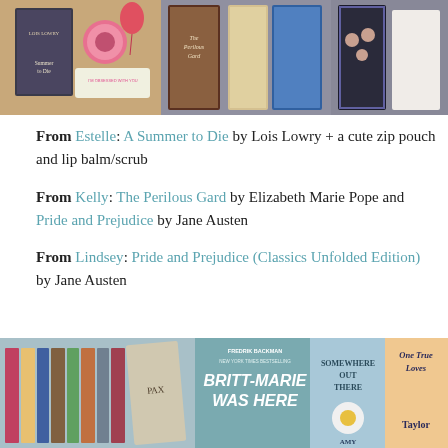[Figure (photo): Three-panel photo collage showing books including A Summer to Die by Lois Lowry with a zip pouch and lip balm, The Perilous Gard, and Pride and Prejudice editions]
From Estelle: A Summer to Die by Lois Lowry + a cute zip pouch and lip balm/scrub
From Kelly: The Perilous Gard by Elizabeth Marie Pope and Pride and Prejudice by Jane Austen
From Lindsey: Pride and Prejudice (Classics Unfolded Edition) by Jane Austen
[Figure (photo): Photo of multiple books including Britt-Marie Was Here by Fredrik Backman, Somewhere Out There by Amy, and One True Loves by Taylor]